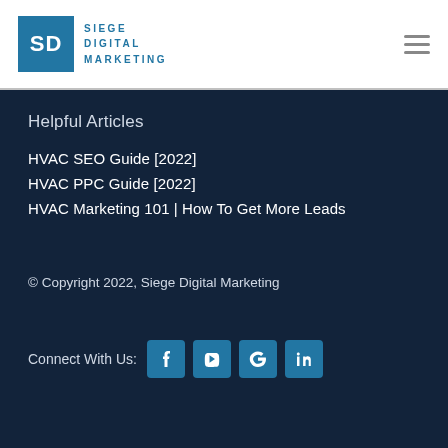[Figure (logo): Siege Digital Marketing logo: teal square with 'SD' text and company name beside it]
Helpful Articles
HVAC SEO Guide [2022]
HVAC PPC Guide [2022]
HVAC Marketing 101 | How To Get More Leads
© Copyright 2022, Siege Digital Marketing
Connect With Us: